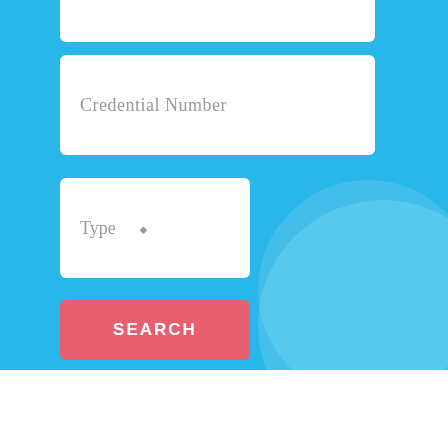[Figure (screenshot): Blue background UI section with form inputs: a partial white input field at top, a Credential Number text input, a Type dropdown selector, and a red SEARCH button]
Credential Number
Type
SEARCH
PCB TRAININGS
[Figure (screenshot): Blue navigation box with left and right chevron arrows]